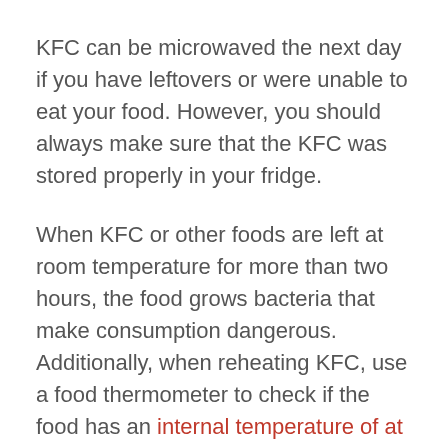KFC can be microwaved the next day if you have leftovers or were unable to eat your food. However, you should always make sure that the KFC was stored properly in your fridge.
When KFC or other foods are left at room temperature for more than two hours, the food grows bacteria that make consumption dangerous. Additionally, when reheating KFC, use a food thermometer to check if the food has an internal temperature of at least 165°.